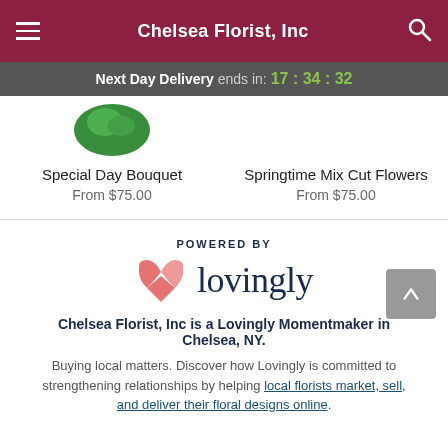Chelsea Florist, Inc
Next Day Delivery ends in: 17 : 34 : 32
Special Day Bouquet
From $75.00
Springtime Mix Cut Flowers
From $75.00
POWERED BY
[Figure (logo): Lovingly logo with pink/red heart-shaped icon and 'lovingly' wordmark in dark navy]
Chelsea Florist, Inc is a Lovingly Momentmaker in Chelsea, NY.
Buying local matters. Discover how Lovingly is committed to strengthening relationships by helping local florists market, sell, and deliver their floral designs online.